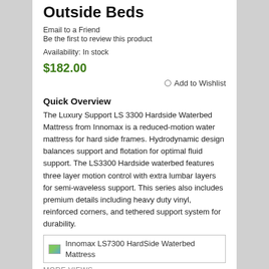Outside Beds
Email to a Friend
Be the first to review this product
Availability: In stock
$182.00
Add to Wishlist
Quick Overview
The Luxury Support LS 3300 Hardside Waterbed Mattress from Innomax is a reduced-motion water mattress for hard side frames. Hydrodynamic design balances support and flotation for optimal fluid support. The LS3300 Hardside waterbed features three layer motion control with extra lumbar layers for semi-waveless support. This series also includes premium details including heavy duty vinyl, reinforced corners, and tethered support system for durability.
[Figure (photo): Thumbnail image of Innomax LS7300 HardSide Waterbed Mattress]
MORE VIEWS